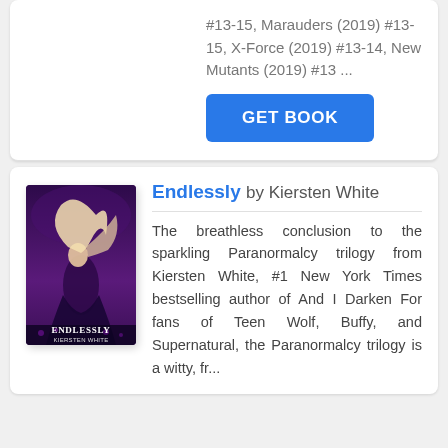#13-15, Marauders (2019) #13-15, X-Force (2019) #13-14, New Mutants (2019) #13 ...
GET BOOK
[Figure (illustration): Book cover for 'Endlessly' by Kiersten White, showing a woman with flowing hair against a purple/dark background with the title 'ENDLESSLY' at the bottom.]
Endlessly by Kiersten White
The breathless conclusion to the sparkling Paranormalcy trilogy from Kiersten White, #1 New York Times bestselling author of And I Darken For fans of Teen Wolf, Buffy, and Supernatural, the Paranormalcy trilogy is a witty, fr...